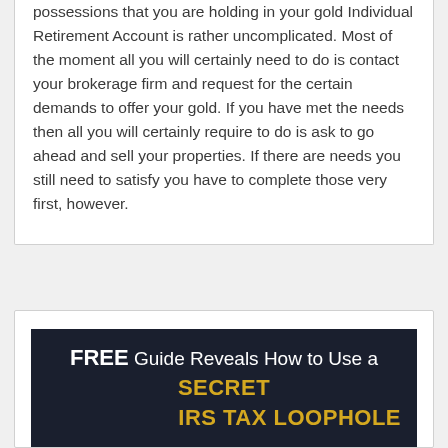possessions that you are holding in your gold Individual Retirement Account is rather uncomplicated. Most of the moment all you will certainly need to do is contact your brokerage firm and request for the certain demands to offer your gold. If you have met the needs then all you will certainly require to do is ask to go ahead and sell your properties. If there are needs you still need to satisfy you have to complete those very first, however.
[Figure (infographic): Advertisement banner with dark navy background. Text reads: FREE Guide Reveals How to Use a SECRET IRS TAX LOOPHOLE]